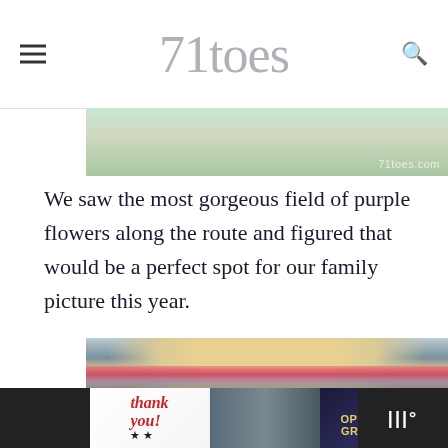71toes
[Figure (photo): Partial photo showing a table scene with a watermark reading '71toes.com']
We saw the most gorgeous field of purple flowers along the route and figured that would be a perfect spot for our family picture this year.
[Figure (photo): Close-up photo of a young blonde girl wearing a bright pink and purple neck gaiter/scarf, smiling, with a purple flower field in the background]
[Figure (photo): Advertisement banner: 'Thank you!' with American flag star, military photo, Operation Gratitude logo, and weather app icon]